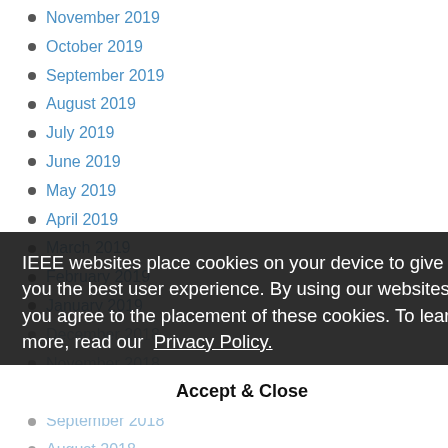November 2019
October 2019
September 2019
August 2019
July 2019
June 2019
May 2019
April 2019
March 2019
February 2019
January 2019
December 2018
November 2018
October 2018
September 2018
August 2018
June 2018
May 2018
April 2018
March 2018
February 2018
January 2018
IEEE websites place cookies on your device to give you the best user experience. By using our websites, you agree to the placement of these cookies. To learn more, read our Privacy Policy.